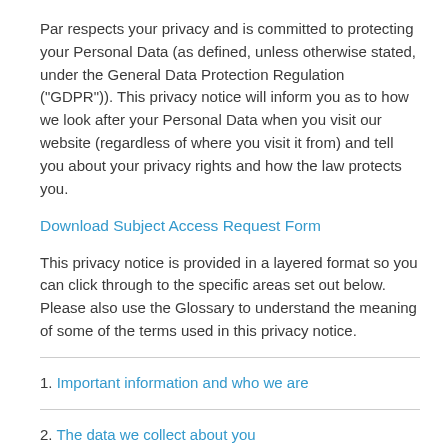Par respects your privacy and is committed to protecting your Personal Data (as defined, unless otherwise stated, under the General Data Protection Regulation ("GDPR")). This privacy notice will inform you as to how we look after your Personal Data when you visit our website (regardless of where you visit it from) and tell you about your privacy rights and how the law protects you.
Download Subject Access Request Form
This privacy notice is provided in a layered format so you can click through to the specific areas set out below. Please also use the Glossary to understand the meaning of some of the terms used in this privacy notice.
1. Important information and who we are
2. The data we collect about you